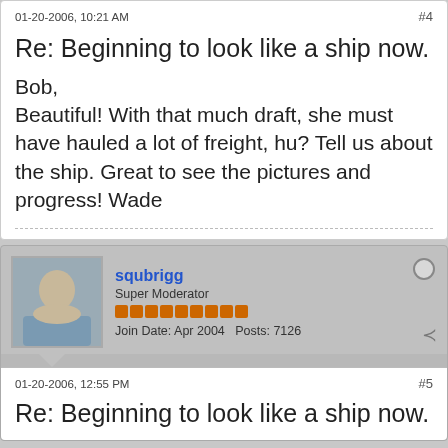01-20-2006, 10:21 AM
#4
Re: Beginning to look like a ship now.
Bob,
Beautiful! With that much draft, she must have hauled a lot of freight, hu? Tell us about the ship. Great to see the pictures and progress!
Wade
squbrigg
Super Moderator
Join Date: Apr 2004   Posts: 7126
01-20-2006, 12:55 PM
#5
Re: Beginning to look like a ship now.